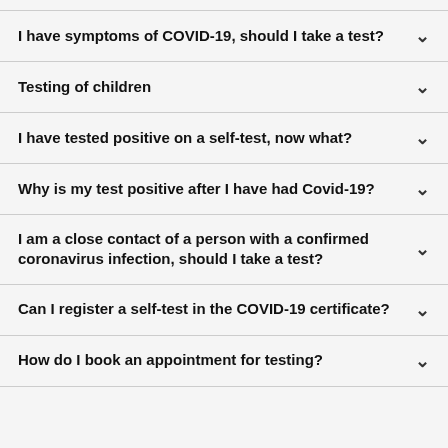I have symptoms of COVID-19, should I take a test?
Testing of children
I have tested positive on a self-test, now what?
Why is my test positive after I have had Covid-19?
I am a close contact of a person with a confirmed coronavirus infection, should I take a test?
Can I register a self-test in the COVID-19 certificate?
How do I book an appointment for testing?